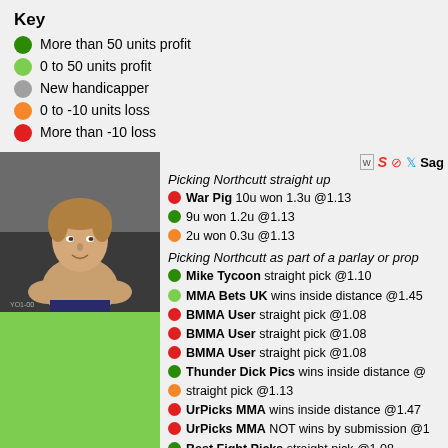Key
More than 50 units profit
0 to 50 units profit
New handicapper
0 to -10 units loss
More than -10 loss
[Figure (photo): Photo of a young male fighter (Sage Northcutt) shirtless in an MMA setting, followed by a green block below]
Picking Northcutt straight up
War Pig 10u won 1.3u @1.13
9u won 1.2u @1.13
2u won 0.3u @1.13
Picking Northcutt as part of a parlay or prop
Mike Tycoon straight pick @1.10
MMA Bets UK wins inside distance @1.45
BMMA User straight pick @1.08
BMMA User straight pick @1.08
BMMA User straight pick @1.08
Thunder Dick Pics wins inside distance @
straight pick @1.13
UrPicks MMA wins inside distance @1.47
UrPicks MMA NOT wins by submission @1
Best Fight Picks straight pick @1.08
Best Fight Picks wins inside distance @1.
Best Fight Picks wins inside distance @1.